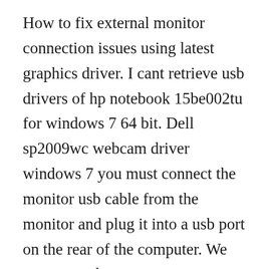How to fix external monitor connection issues using latest graphics driver. I cant retrieve usb drivers of hp notebook 15be002tu for windows 7 64 bit. Dell sp2009wc webcam driver windows 7 you must connect the monitor usb cable from the monitor and plug it into a usb port on the rear of the computer. We recommend you move to a windows 10 pc to continue to receive security updates from microsoft.
Get the best experience from your device with mimo monitors collection of display adapter